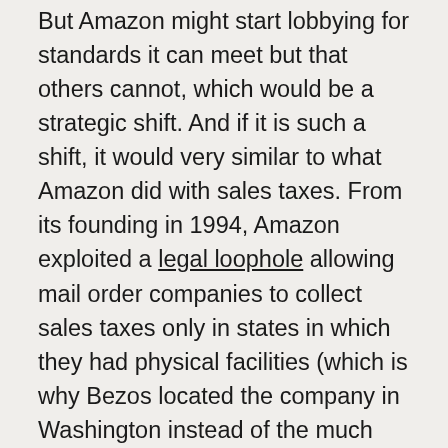But Amazon might start lobbying for standards it can meet but that others cannot, which would be a strategic shift. And if it is such a shift, it would very similar to what Amazon did with sales taxes. From its founding in 1994, Amazon exploited a legal loophole allowing mail order companies to collect sales taxes only in states in which they had physical facilities (which is why Bezos located the company in Washington instead of the much larger end-market of California). Amazon thus could sell at a competitive advantage by locating facilities in as few states as possible, letting customers avoid sales taxes. When Amazon's growth of warehousing facilities made such a strategy impractical, the company flipped (though not for its third party merchants), and argued for closing that loophole, so upstarts couldn't use it against Amazon. It also started extracting tax concessions for locating